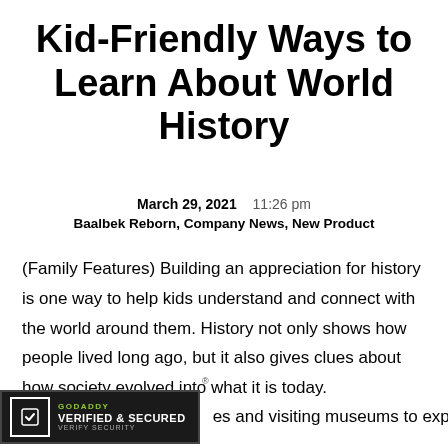Kid-Friendly Ways to Learn About World History
March 29, 2021   11:26 pm
Baalbek Reborn, Company News, New Product
(Family Features) Building an appreciation for history is one way to help kids understand and connect with the world around them. History not only shows how people lived long ago, but it also gives clues about how society evolved into what it is today.
[Figure (logo): GoDaddy Verified & Secured seal badge in dark background with green GoDaddy text]
es and visiting museums to exploring